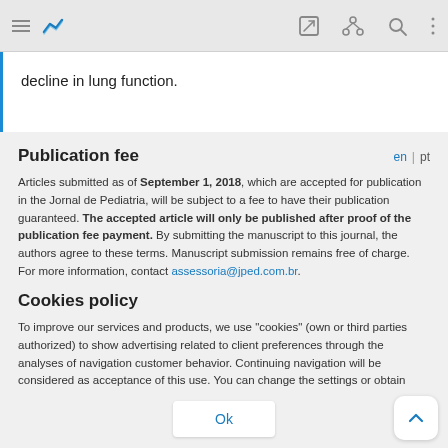[toolbar with hamburger menu, logo, edit icon, share icon, search icon, more icon]
decline in lung function.
Publication fee
Articles submitted as of September 1, 2018, which are accepted for publication in the Jornal de Pediatria, will be subject to a fee to have their publication guaranteed. The accepted article will only be published after proof of the publication fee payment. By submitting the manuscript to this journal, the authors agree to these terms. Manuscript submission remains free of charge. For more information, contact assessoria@jped.com.br.
Cookies policy
To improve our services and products, we use "cookies" (own or third parties authorized) to show advertising related to client preferences through the analyses of navigation customer behavior. Continuing navigation will be considered as acceptance of this use. You can change the settings or obtain more information by clicking here.